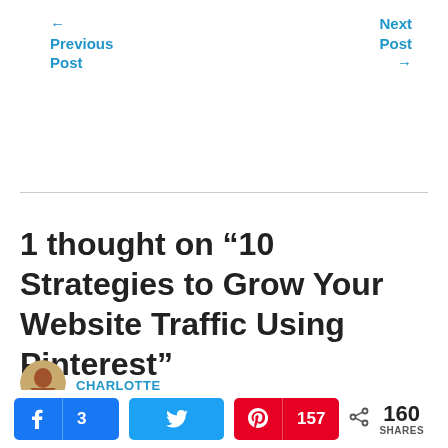← Previous Post
Next Post →
1 thought on “10 Strategies to Grow Your Website Traffic Using Pinterest”
CHARLOTTE
3  157  160 SHARES